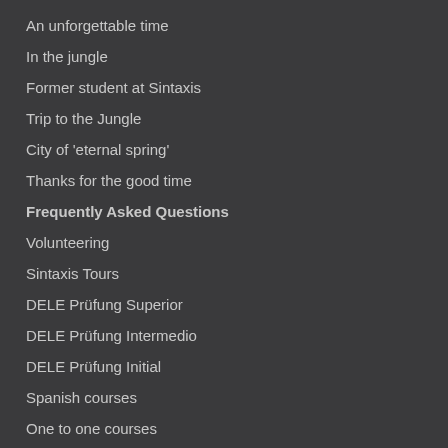An unforgettable time
In the jungle
Former student at Sintaxis
Trip to the Jungle
City of 'eternal spring'
Thanks for the good time
Frequently Asked Questions
Volunteering
Sintaxis Tours
DELE Prüfung Superior
DELE Prüfung Intermedio
DELE Prüfung Initial
Spanish courses
One to one courses
Ecuador - The Country
Gallery